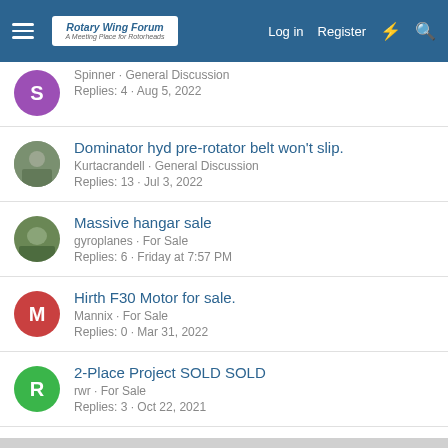Rotary Wing Forum — A Meeting Place for Rotorheads | Log in | Register
[Partial thread] Spinner · General Discussion · Replies: 4 · Aug 5, 2022
Dominator hyd pre-rotator belt won't slip. · Kurtacrandell · General Discussion · Replies: 13 · Jul 3, 2022
Massive hangar sale · gyroplanes · For Sale · Replies: 6 · Friday at 7:57 PM
Hirth F30 Motor for sale. · Mannix · For Sale · Replies: 0 · Mar 31, 2022
2-Place Project SOLD SOLD · rwr · For Sale · Replies: 3 · Oct 22, 2021